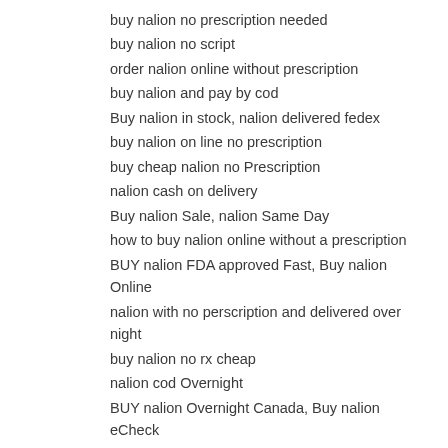buy nalion no prescription needed
buy nalion no script
order nalion online without prescription
buy nalion and pay by cod
Buy nalion in stock, nalion delivered fedex
buy nalion on line no prescription
buy cheap nalion no Prescription
nalion cash on delivery
Buy nalion Sale, nalion Same Day
how to buy nalion online without a prescription
BUY nalion FDA approved Fast, Buy nalion Online
nalion with no perscription and delivered over night
buy nalion no rx cheap
nalion cod Overnight
BUY nalion Overnight Canada, Buy nalion eCheck
Buy nalion in Idaho
nalion
BUY nalion without a prescription, Cheap nalion Free Shipping
Buy nalion Canadian Pharmacy, Buy nalion Online eCheck
nalion no script fedex
Can I Buy nalion Fast Delivery saturday, nalion Cheap Canada
.
Website: https://onlyrxbrands.com
.
U.S. pharmacies for nalion without rx